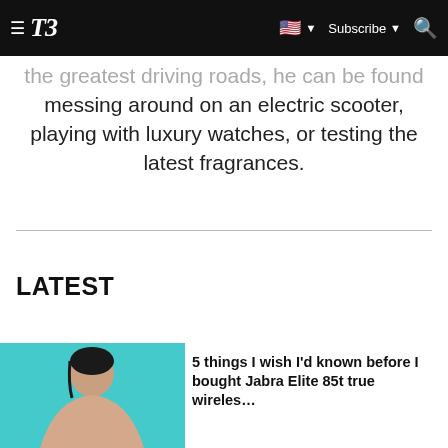T3 — Subscribe
the greatest driving roads, he can be found messing around on an electric scooter, playing with luxury watches, or testing the latest fragrances.
LATEST
[Figure (photo): Thumbnail photo of a person with dark hair against a teal/cyan background, partially visible at bottom left of page.]
5 things I wish I'd known before I bought Jabra Elite 85t true wireless…